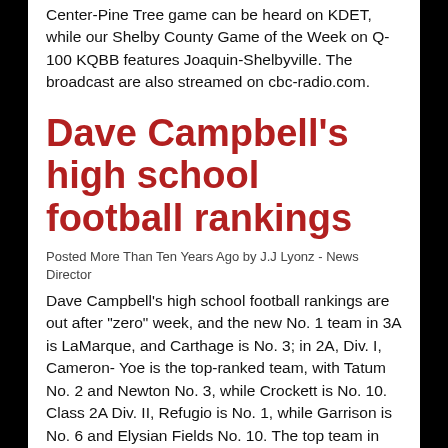Center-Pine Tree game can be heard on KDET, while our Shelby County Game of the Week on Q-100 KQBB features Joaquin-Shelbyville. The broadcast are also streamed on cbc-radio.com.
Dave Campbell's high school football rankings
Posted More Than Ten Years Ago by J.J Lyonz - News Director
Dave Campbell's high school football rankings are out after "zero" week, and the new No. 1 team in 3A is LaMarque, and Carthage is No. 3; in 2A, Div. I, Cameron- Yoe is the top-ranked team, with Tatum No. 2 and Newton No. 3, while Crockett is No. 10. Class 2A Div. II, Refugio is No. 1, while Garrison is No. 6 and Elysian Fields No. 10. The top team in Class 1A, Div. I is Mart, with Alto No. 6, and San Augustine dropped from No. 3 to No. 7. The No. 1 team in Class 1A, Div. II